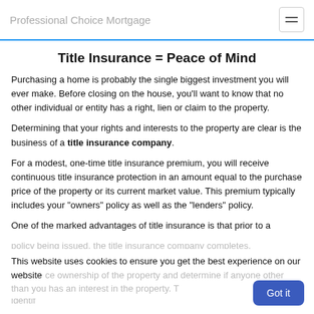Professional Choice Mortgage
Title Insurance = Peace of Mind
Purchasing a home is probably the single biggest investment you will ever make. Before closing on the house, you'll want to know that no other individual or entity has a right, lien or claim to the property.
Determining that your rights and interests to the property are clear is the business of a title insurance company.
For a modest, one-time title insurance premium, you will receive continuous title insurance protection in an amount equal to the purchase price of the property or its current market value. This premium typically includes your "owners" policy as well as the "lenders" policy.
One of the marked advantages of title insurance is that prior to a policy being issued, the title insurance company completes...
This website uses cookies to ensure you get the best experience on our website
...ce ownership of the property and determine if anyone other than you has an interest in the property. This research, the title insurance company can usually identif...